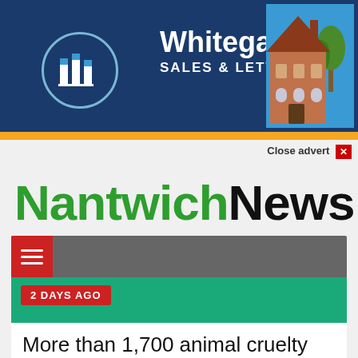[Figure (logo): Whitegates Sales & Lettings advertisement banner with logo circle, company name, and building illustration]
Close advert ×
NantwichNews
[Figure (screenshot): Navigation bar with red hamburger menu button]
2 DAYS AGO
More than 1,700 animal cruelty